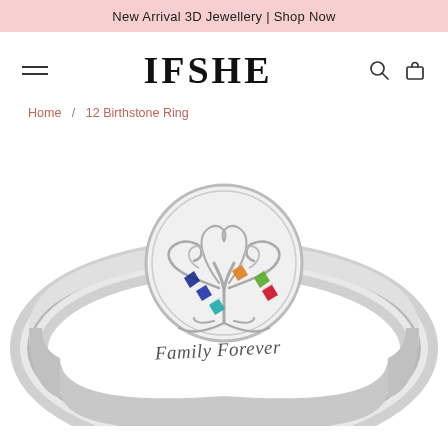New Arrival 3D Jewellery | Shop Now
IFSHE
Home / 12 Birthstone Ring
[Figure (photo): Close-up photo of a silver family tree birthstone ring with colorful gemstones (blue, orange, green, red, teal) set in a filigree tree-of-life design. The inside of the ring band is engraved with 'Family Forever'.]